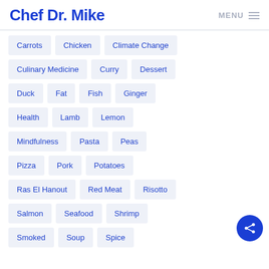Chef Dr. Mike
Carrots
Chicken
Climate Change
Culinary Medicine
Curry
Dessert
Duck
Fat
Fish
Ginger
Health
Lamb
Lemon
Mindfulness
Pasta
Peas
Pizza
Pork
Potatoes
Ras El Hanout
Red Meat
Risotto
Salmon
Seafood
Shrimp
Smoked
Soup
Spice